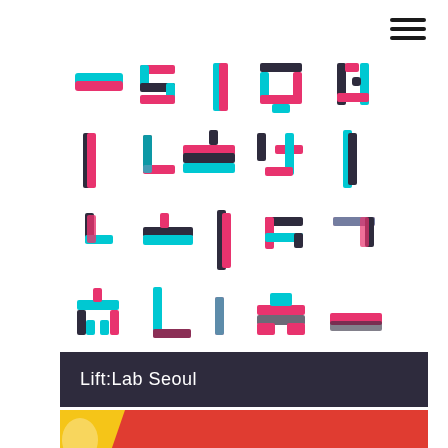[Figure (logo): Lift:Lab Seoul logo — colorful abstract geometric shapes composed of cyan and pink/magenta rectangular pipe-like symbols arranged in a grid pattern, resembling stylized Korean or abstract letterforms]
Lift:Lab Seoul
[Figure (infographic): Red banner with yellow geometric patch on the left, text reading MAY – SEPTEMBER 2020 in white capital letters]